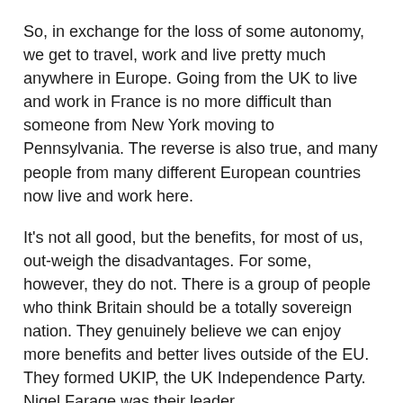So, in exchange for the loss of some autonomy, we get to travel, work and live pretty much anywhere in Europe. Going from the UK to live and work in France is no more difficult than someone from New York moving to Pennsylvania. The reverse is also true, and many people from many different European countries now live and work here.
It's not all good, but the benefits, for most of us, out-weigh the disadvantages. For some, however, they do not. There is a group of people who think Britain should be a totally sovereign nation. They genuinely believe we can enjoy more benefits and better lives outside of the EU. They formed UKIP, the UK Independence Party. Nigel Farage was their leader.
Why a Referendum?
The Referendum came about, not because UKIP finally forced the issue, but due to in-fighting in the Conservative Party. Although it was something the general population